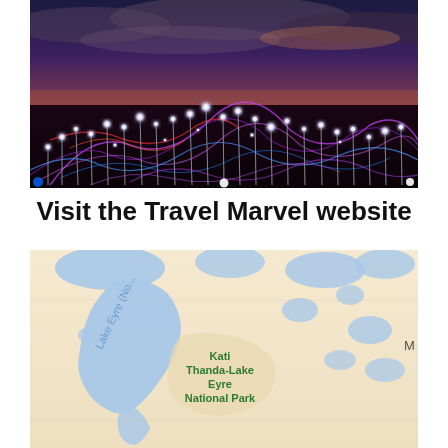[Figure (photo): Photograph of a glowing light art installation at dusk — hundreds of tall slender poles topped with bright white orbs, connected by swirling neon purple, blue, and red fiber-optic strands spread across a flat dark landscape under a dramatic cloudy twilight sky.]
Visit the Travel Marvel website
[Figure (map): Google Maps screenshot showing Lake Eyre (No...) — a large blue lake shape in South Australia — with the label 'Kati Thanda-Lake Eyre National Park' visible in green text on the right side of the map. The map has a beige/tan land background with blue water and a partial 'M' visible at the far right edge.]